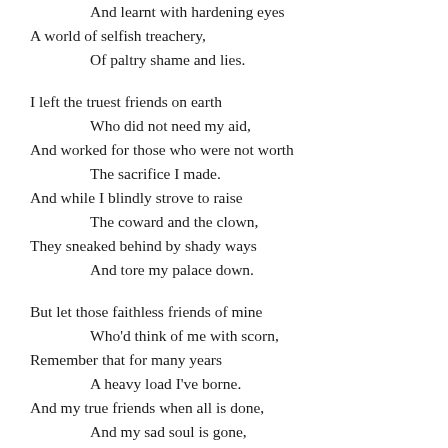And learnt with hardening eyes
A world of selfish treachery,
Of paltry shame and lies.

I left the truest friends on earth
Who did not need my aid,
And worked for those who were not worth
The sacrifice I made.
And while I blindly strove to raise
The coward and the clown,
They sneaked behind by shady ways
And tore my palace down.

But let those faithless friends of mine
Who'd think of me with scorn,
Remember that for many years
A heavy load I've borne.
And my true friends when all is done,
And my sad soul is gone,
Will think of battles I have won
When I lead rivals on.

And though from spite and worldly things
I well should be exempt,
For little men and paltry men
I scarce can feel contempt.